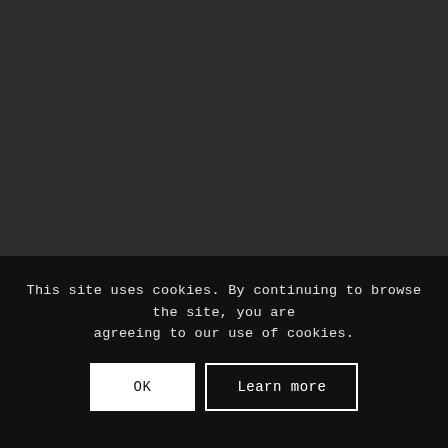ARCHIVES
Select Month
This site uses cookies. By continuing to browse the site, you are agreeing to our use of cookies.
OK
Learn more